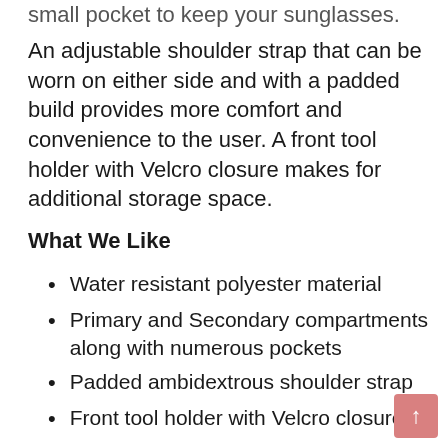small pocket to keep your sunglasses.
An adjustable shoulder strap that can be worn on either side and with a padded build provides more comfort and convenience to the user. A front tool holder with Velcro closure makes for additional storage space.
What We Like
Water resistant polyester material
Primary and Secondary compartments along with numerous pockets
Padded ambidextrous shoulder strap
Front tool holder with Velcro closure